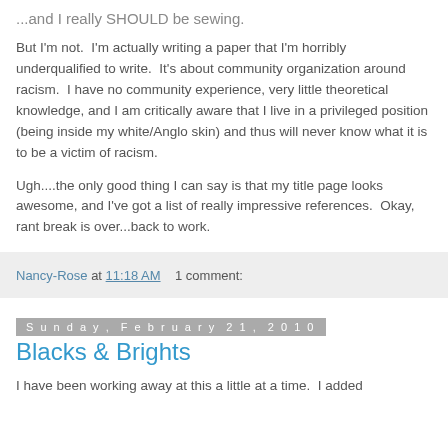...and I really SHOULD be sewing.
But I'm not.  I'm actually writing a paper that I'm horribly underqualified to write.  It's about community organization around racism.  I have no community experience, very little theoretical knowledge, and I am critically aware that I live in a privileged position (being inside my white/Anglo skin) and thus will never know what it is to be a victim of racism.
Ugh....the only good thing I can say is that my title page looks awesome, and I've got a list of really impressive references.  Okay, rant break is over...back to work.
Nancy-Rose at 11:18 AM    1 comment:
Sunday, February 21, 2010
Blacks & Brights
I have been working away at this a little at a time.  I added